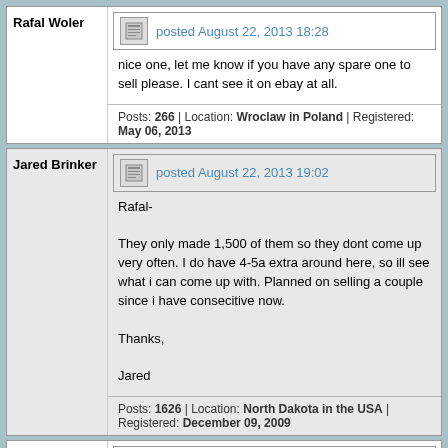Rafal Woler
posted August 22, 2013 18:28
nice one, let me know if you have any spare one to sell please. I cant see it on ebay at all.
Posts: 266 | Location: Wroclaw in Poland | Registered: May 06, 2013
Jared Brinker
posted August 22, 2013 19:02
Rafal-

They only made 1,500 of them so they dont come up very often. I do have 4-5a extra around here, so ill see what i can come up with. Planned on selling a couple since i have consecitive now.

Thanks,

Jared
Posts: 1626 | Location: North Dakota in the USA | Registered: December 09, 2009
Gary E. Foster
posted August 22, 2013 21:00
Nice watches Jared. Look forward to seeing them after you get them tuned up.
Gary
[Figure (photo): Profile photo of a dog, dark colored, small avatar image]